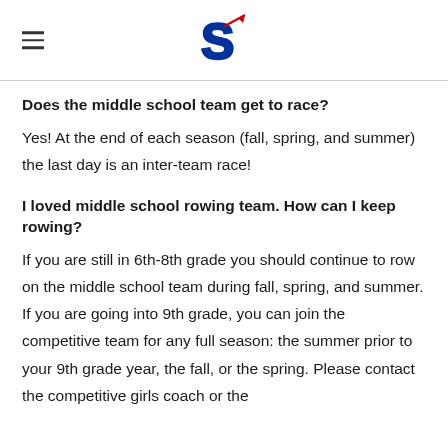S [logo]
Does the middle school team get to race?
Yes! At the end of each season (fall, spring, and summer) the last day is an inter-team race!
I loved middle school rowing team. How can I keep rowing?
If you are still in 6th-8th grade you should continue to row on the middle school team during fall, spring, and summer. If you are going into 9th grade, you can join the competitive team for any full season: the summer prior to your 9th grade year, the fall, or the spring. Please contact the competitive girls coach or the